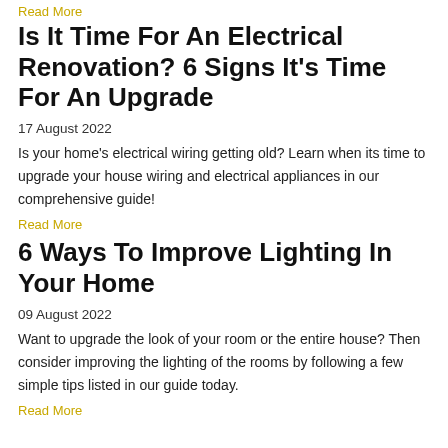Read More
Is It Time For An Electrical Renovation? 6 Signs It's Time For An Upgrade
17 August 2022
Is your home's electrical wiring getting old? Learn when its time to upgrade your house wiring and electrical appliances in our comprehensive guide!
Read More
6 Ways To Improve Lighting In Your Home
09 August 2022
Want to upgrade the look of your room or the entire house? Then consider improving the lighting of the rooms by following a few simple tips listed in our guide today.
Read More